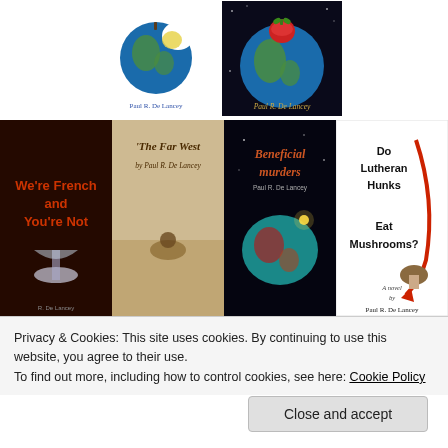[Figure (illustration): Two book covers side by side at top: left cover shows a globe shaped like a bitten apple by Paul R. De Lancey; right cover shows a globe with a tomato on top, dark background, by Paul R. De Lancey.]
[Figure (illustration): Four book covers in a row: 'We're French and You're Not' (dark red), 'The Far West by Paul R. De Lancey' (sepia western), 'Beneficial Murders Paul R. De Lancey' (dark sci-fi), 'Do Lutheran Hunks Eat Mushrooms? A novel by Paul R. De Lancey' (white with red arrow).]
Privacy & Cookies: This site uses cookies. By continuing to use this website, you agree to their use.
To find out more, including how to control cookies, see here: Cookie Policy
Close and accept